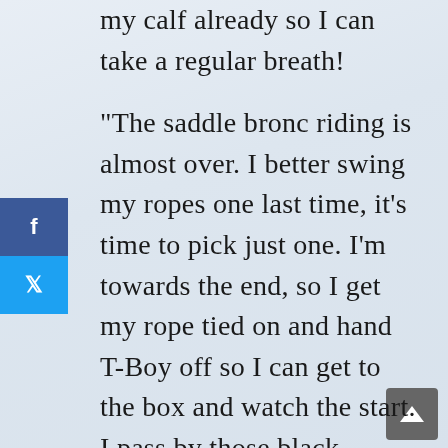my calf already so I can take a regular breath!
“The saddle bronc riding is almost over. I better swing my ropes one last time, it’s time to pick just one. I’m towards the end, so I get my rope tied on and hand T-Boy off so I can get to the box and watch the start. I pass by those black curtains and the brightness hits my eyes. The arena looks even smaller tonight than in the cattle run-throughs.
“Here it is—the first breakaway